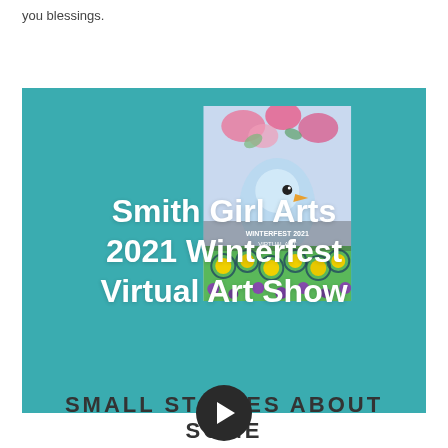you blessings.
[Figure (screenshot): Video thumbnail with teal/turquoise background showing a colorful painting of birds and flowers. White text overlay reads 'Smith Girl Arts 2021 Winterfest Virtual Art Show'. A dark circular play button is at the bottom center.]
SMALL STORIES ABOUT SOME